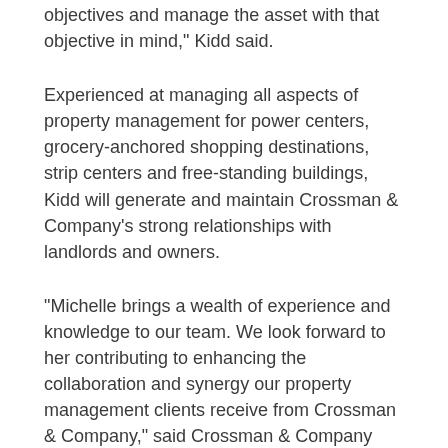objectives and manage the asset with that objective in mind," Kidd said.
Experienced at managing all aspects of property management for power centers, grocery-anchored shopping destinations, strip centers and free-standing buildings, Kidd will generate and maintain Crossman & Company’s strong relationships with landlords and owners.
"Michelle brings a wealth of experience and knowledge to our team. We look forward to her contributing to enhancing the collaboration and synergy our property management clients receive from Crossman & Company," said Crossman & Company President John Zielinski, CCIM.
Kidd is an active member of the Orlando Building Owners